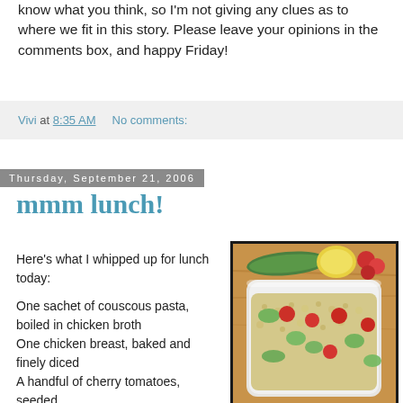know what you think, so I'm not giving any clues as to where we fit in this story. Please leave your opinions in the comments box, and happy Friday!
Vivi at 8:35 AM   No comments:
Thursday, September 21, 2006
mmm lunch!
Here's what I whipped up for lunch today:
One sachet of couscous pasta, boiled in chicken broth
One chicken breast, baked and finely diced
A handful of cherry tomatoes, seeded
Half a cucumber, seeded
[Figure (photo): A plastic container filled with couscous salad with cherry tomatoes, cucumber, and chicken. A cucumber and lemon half are visible in the background.]
mmm lunch!
Originally uploaded by vivi en france.